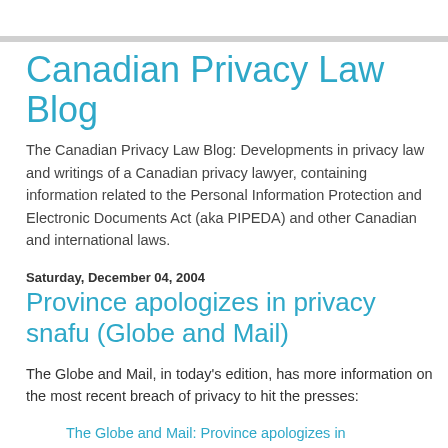Canadian Privacy Law Blog
The Canadian Privacy Law Blog: Developments in privacy law and writings of a Canadian privacy lawyer, containing information related to the Personal Information Protection and Electronic Documents Act (aka PIPEDA) and other Canadian and international laws.
Saturday, December 04, 2004
Province apologizes in privacy snafu (Globe and Mail)
The Globe and Mail, in today's edition, has more information on the most recent breach of privacy to hit the presses:
The Globe and Mail: Province apologizes in